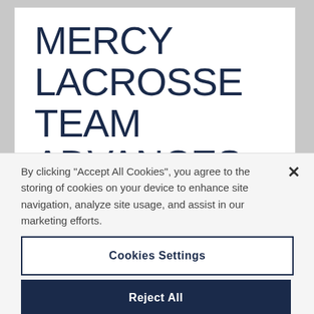MERCY LACROSSE TEAM ADVANCES TO DIVISION II NATIONAL
By clicking “Accept All Cookies”, you agree to the storing of cookies on your device to enhance site navigation, analyze site usage, and assist in our marketing efforts.
Cookies Settings
Reject All
Accept All Cookies